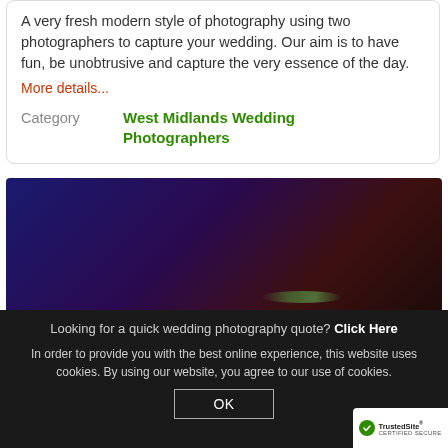A very fresh modern style of photography using two photographers to capture your wedding. Our aim is to have fun, be unobtrusive and capture the very essence of the day.
More details...
Category   West Midlands Wedding Photographers
[Figure (photo): Dark gradient photo with blue light on left and dark red/brown tones on right, with a faint green streak near bottom right]
Looking for a quick wedding photography quote? Click Here
In order to provide you with the best online experience, this website uses cookies. By using our website, you agree to our use of cookies.
OK
[Figure (logo): TrustedSite Certified Secure badge]